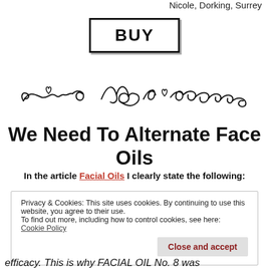Nicole, Dorking, Surrey
[Figure (other): BUY button with bold black text inside a thick black border box with shadow]
[Figure (illustration): Decorative hand-drawn scrollwork divider with hearts and flourishes]
We Need To Alternate Face Oils
In the article Facial Oils I clearly state the following:
Privacy & Cookies: This site uses cookies. By continuing to use this website, you agree to their use.
To find out more, including how to control cookies, see here:
Cookie Policy
Close and accept
efficacy. This is why FACIAL OIL No. 8 was